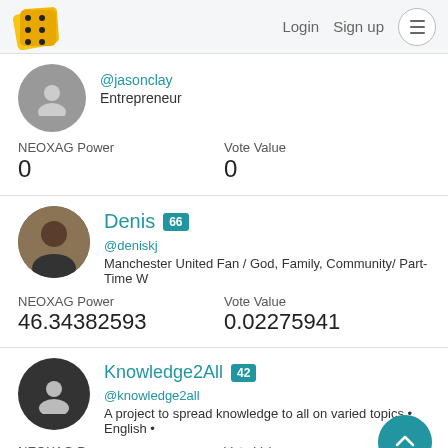Login  Sign up
@jasonclay
Entrepreneur
NEOXAG Power: 0
Vote Value: 0
Denis 66
@deniskj
Manchester United Fan / God, Family, Community/ Part-Time W
NEOXAG Power: 46.34382593
Vote Value: 0.02275941
Knowledge2All 42
@knowledge2all
A project to spread knowledge to all on varied topics • English •
NEOXAG Power: 0
Vote Value: 0